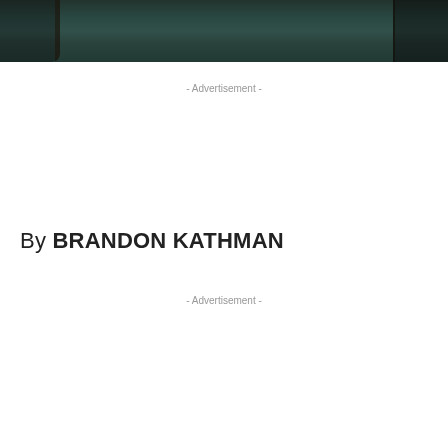[Figure (photo): Partial photo of people and a dog on a teal/dark carpet, cropped at the top of the page]
- Advertisement -
By BRANDON KATHMAN
- Advertisement -